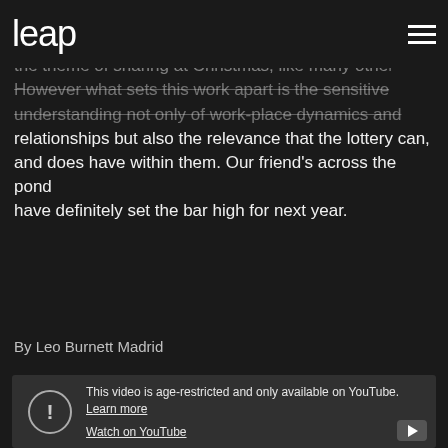leap
above the rest. The Spanish Lotto chose to continue with the theme of sharing at Christmas, like many others. However what sets this work apart is the sensitive understanding not only of work-place dynamics and relationships but also the relevance that the lottery can, and does have within them. Our friend's across the pond have definitely set the bar high for next year.
By Leo Burnett Madrid
[Figure (screenshot): Embedded YouTube video player showing age restriction message: 'This video is age-restricted and only available on YouTube. Learn more' and 'Watch on YouTube' link. Dark grey background with YouTube logo icon in bottom right.]